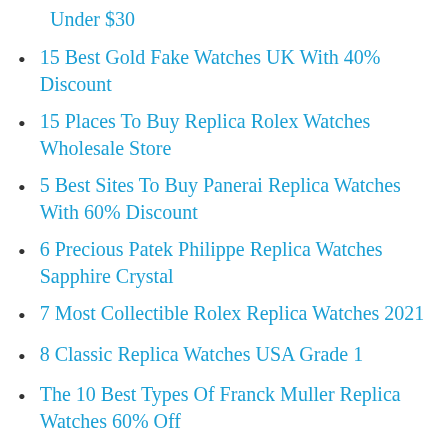Under $30
15 Best Gold Fake Watches UK With 40% Discount
15 Places To Buy Replica Rolex Watches Wholesale Store
5 Best Sites To Buy Panerai Replica Watches With 60% Discount
6 Precious Patek Philippe Replica Watches Sapphire Crystal
7 Most Collectible Rolex Replica Watches 2021
8 Classic Replica Watches USA Grade 1
The 10 Best Types Of Franck Muller Replica Watches 60% Off
The 10 Highest Quality Noob Factory Replica Watches With 20% Discount
The 10 Best Ways You Can See Top Mo...